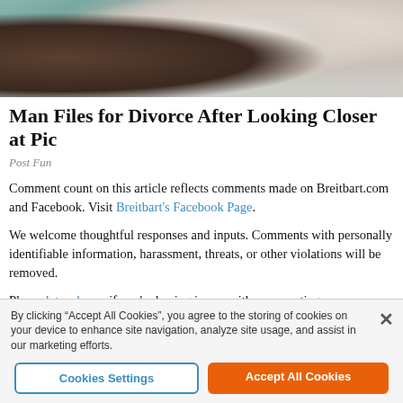[Figure (photo): Partial photo showing hands and clothing, outdoor scene with teal/green background]
Man Files for Divorce After Looking Closer at Pic
Post Fun
Comment count on this article reflects comments made on Breitbart.com and Facebook. Visit Breitbart's Facebook Page.
We welcome thoughtful responses and inputs. Comments with personally identifiable information, harassment, threats, or other violations will be removed.
Please let us know if you're having issues with commenting.
By clicking “Accept All Cookies”, you agree to the storing of cookies on your device to enhance site navigation, analyze site usage, and assist in our marketing efforts.